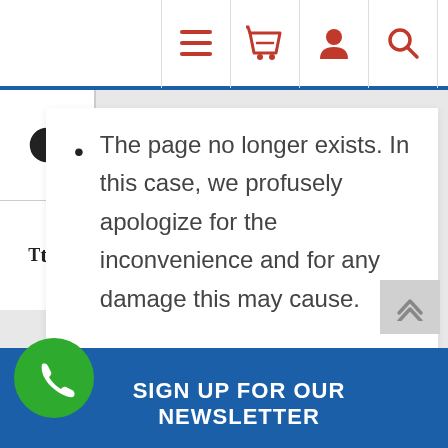[Figure (screenshot): Navigation bar with hamburger menu, shopping cart, user account, and search icons in red on white background]
[Figure (screenshot): Left sidebar with contrast toggle and text size toggle icons]
The page no longer exists. In this case, we profusely apologize for the inconvenience and for any damage this may cause.
[Figure (screenshot): Blue footer section with green phone call button and scroll-to-top button]
SIGN UP FOR OUR NEWSLETTER